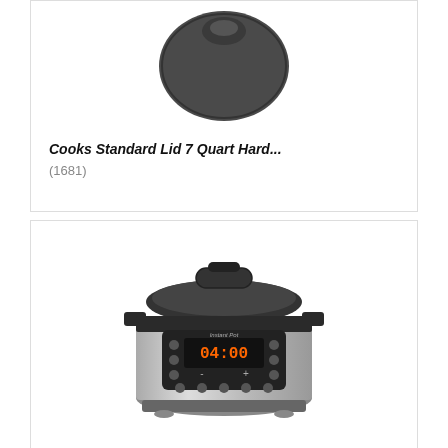[Figure (photo): Dark gray round non-stick pan lid viewed from above on white background]
Cooks Standard Lid 7 Quart Hard...
(1681)
[Figure (photo): Instant Pot electric pressure cooker in stainless steel and black, front view showing digital display reading 04:00]